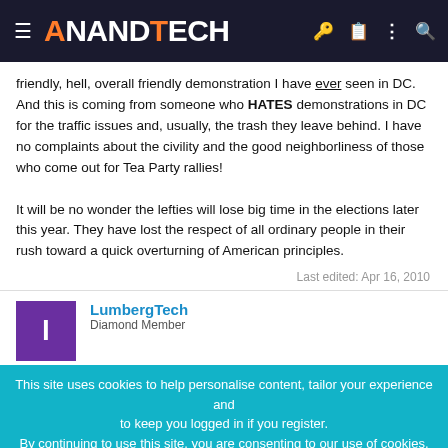AnandTech
friendly, hell, overall friendly demonstration I have ever seen in DC. And this is coming from someone who HATES demonstrations in DC for the traffic issues and, usually, the trash they leave behind. I have no complaints about the civility and the good neighborliness of those who come out for Tea Party rallies!

It will be no wonder the lefties will lose big time in the elections later this year. They have lost the respect of all ordinary people in their rush toward a quick overturning of American principles.
Last edited: Apr 16, 2010
LumbergTech
This site uses cookies to help personalise content, tailor your experience and to keep you logged in if you register.
By continuing to use this site, you are consenting to our use of cookies.
[Figure (other): Tech Leadership Awards 2022 advertisement banner with nominate button]